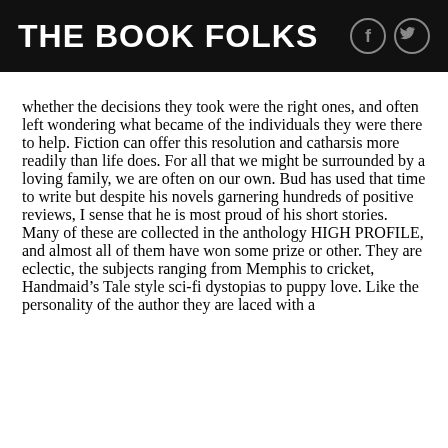THE BOOK FOLKS
whether the decisions they took were the right ones, and often left wondering what became of the individuals they were there to help. Fiction can offer this resolution and catharsis more readily than life does. For all that we might be surrounded by a loving family, we are often on our own. Bud has used that time to write but despite his novels garnering hundreds of positive reviews, I sense that he is most proud of his short stories. Many of these are collected in the anthology HIGH PROFILE, and almost all of them have won some prize or other. They are eclectic, the subjects ranging from Memphis to cricket, Handmaid’s Tale style sci-fi dystopias to puppy love. Like the personality of the author they are laced with a